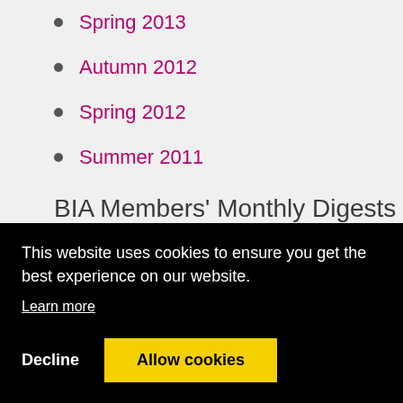Spring 2013
Autumn 2012
Spring 2012
Summer 2011
BIA Members' Monthly Digests (pdf)
Archive
This website uses cookies to ensure you get the best experience on our website. Learn more
July 2017